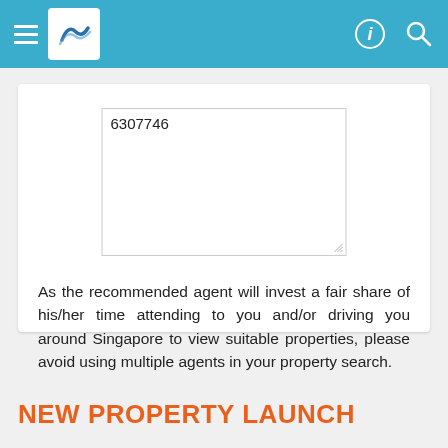[Figure (screenshot): Mobile app top navigation bar with hamburger menu, logo icon in white box, and search/info icons on right, all on teal/blue background]
6307746
As the recommended agent will invest a fair share of his/her time attending to you and/or driving you around Singapore to view suitable properties, please avoid using multiple agents in your property search.
NEW PROPERTY LAUNCH